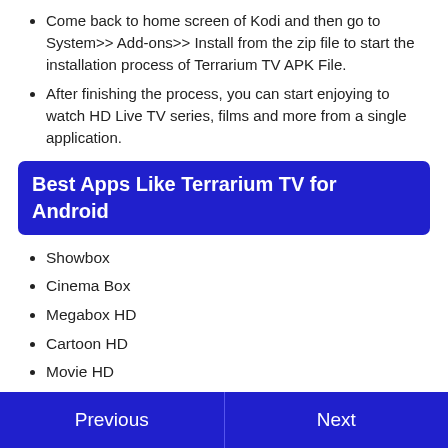Come back to home screen of Kodi and then go to System>> Add-ons>> Install from the zip file to start the installation process of Terrarium TV APK File.
After finishing the process, you can start enjoying to watch HD Live TV series, films and more from a single application.
Best Apps Like Terrarium TV for Android
Showbox
Cinema Box
Megabox HD
Cartoon HD
Movie HD
Previous   Next